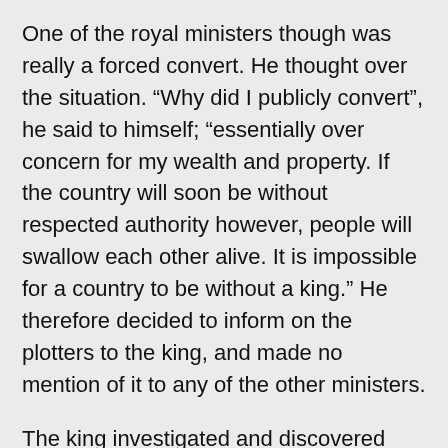One of the royal ministers though was really a forced convert. He thought over the situation. “Why did I publicly convert”, he said to himself; “essentially over concern for my wealth and property. If the country will soon be without respected authority however, people will swallow each other alive. It is impossible for a country to be without a king.” He therefore decided to inform on the plotters to the king, and made no mention of it to any of the other ministers.
The king investigated and discovered that the plot was real, and accordingly stationed guards all around. The night the plot was enacted, the assassins were captured, and all were appropriately sentenced. The king then asked the minister convert: “What possible honor can I grant you on